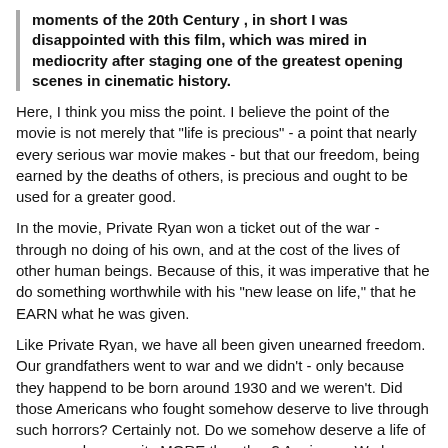moments of the 20th Century , in short I was disappointed with this film, which was mired in mediocrity after staging one of the greatest opening scenes in cinematic history.
Here, I think you miss the point. I believe the point of the movie is not merely that "life is precious" - a point that nearly every serious war movie makes - but that our freedom, being earned by the deaths of others, is precious and ought to be used for a greater good.
In the movie, Private Ryan won a ticket out of the war - through no doing of his own, and at the cost of the lives of other human beings. Because of this, it was imperative that he do something worthwhile with his "new lease on life," that he EARN what he was given.
Like Private Ryan, we have all been given unearned freedom. Our grandfathers went to war and we didn't - only because they happend to be born around 1930 and we weren't. Did those Americans who fought somehow deserve to live through such horrors? Certainly not. Do we somehow deserve a life of peace and prosperity MORE than they? Again, no. We have been literally given our freedoms, and that gift was brought about through our forefather's courage and blood. Thus, we should live a life worthy of such a gift.